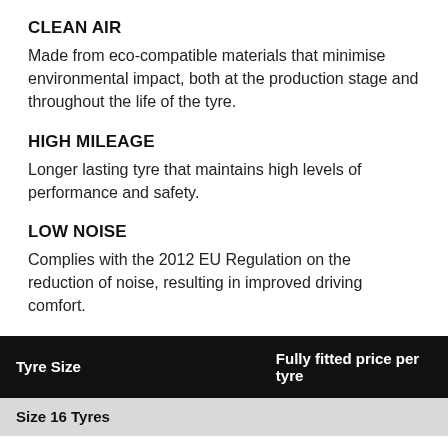CLEAN AIR
Made from eco-compatible materials that minimise environmental impact, both at the production stage and throughout the life of the tyre.
HIGH MILEAGE
Longer lasting tyre that maintains high levels of performance and safety.
LOW NOISE
Complies with the 2012 EU Regulation on the reduction of noise, resulting in improved driving comfort.
| Tyre Size | Fully fitted price per tyre |
| --- | --- |
| Size 16 Tyres |  |
| Pirelli Cinturato P7 Run Flat 205/55R16 91W | View |